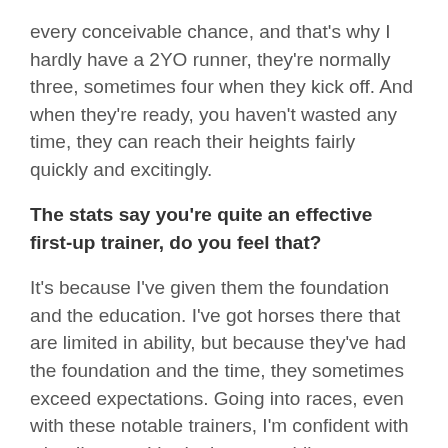every conceivable chance, and that's why I hardly have a 2YO runner, they're normally three, sometimes four when they kick off. And when they're ready, you haven't wasted any time, they can reach their heights fairly quickly and excitingly.
The stats say you're quite an effective first-up trainer, do you feel that?
It's because I've given them the foundation and the education. I've got horses there that are limited in ability, but because they've had the foundation and the time, they sometimes exceed expectations. Going into races, even with these notable trainers, I'm confident with what I've got. I had a horse a while ago, called Cellar … very average horse, but gave him the proper education. At his first start, he sat 4-5 wide the whole way, drew an outside barrier and ran second to a horse called Rainbow Thief. I'm sure if another trainer had that horse, because he was very quirky, he wouldn't have